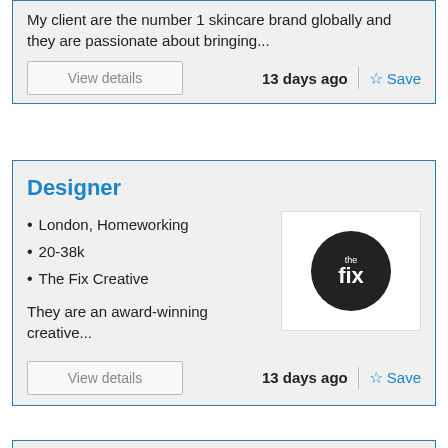My client are the number 1 skincare brand globally and they are passionate about bringing...
View details
13 days ago
Save
Designer
London, Homeworking
20-38k
The Fix Creative
[Figure (logo): The Fix Creative logo - black circle with 'the fix' text in white]
They are an award-winning creative...
View details
13 days ago
Save